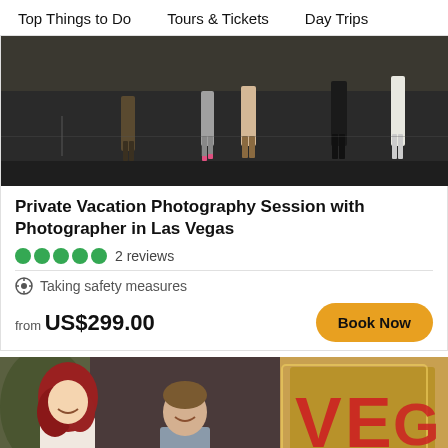Top Things to Do   Tours & Tickets   Day Trips
[Figure (photo): People walking on a dark asphalt area, partially visible from waist down]
Private Vacation Photography Session with Photographer in Las Vegas
5 green circles  2 reviews
Taking safety measures
from US$299.00   Book Now
[Figure (photo): A couple smiling at each other in front of a Vegas sign, woman with red hair in wedding attire]